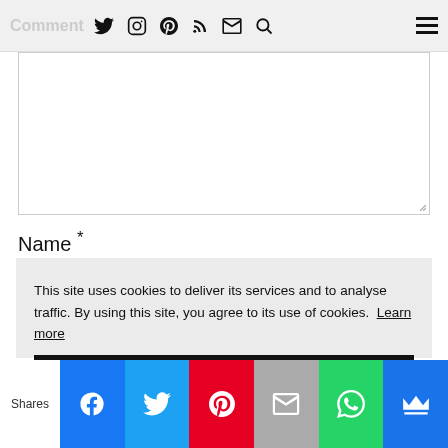Comment
[Figure (screenshot): Navigation bar with social icons: Twitter, Instagram, Pinterest, RSS, Email, Search, and hamburger menu]
[Figure (screenshot): Comment textarea input box]
Name *
[Figure (screenshot): Name text input field]
This site uses cookies to deliver its services and to analyse traffic. By using this site, you agree to its use of cookies. Learn more
OK
[Figure (screenshot): Social share bar with Shares label, Facebook, Twitter, Pinterest, Email, WhatsApp, and crown buttons]